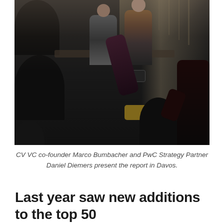[Figure (photo): Indoor event photo showing an audience seated in a dimly lit room, with two presenters standing at the front. An audience member is raising a hand or phone. The scene appears to be a presentation or conference gathering.]
CV VC co-founder Marco Bumbacher and PwC Strategy Partner Daniel Diemers present the report in Davos.
Last year saw new additions to the top 50